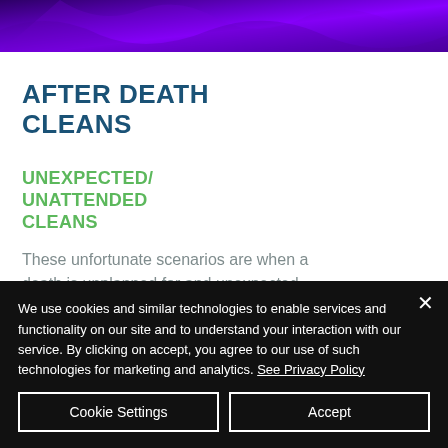[Figure (photo): Purple gradient background image at the top of the page, showing fabric or textile with deep violet and blue-purple tones.]
AFTER DEATH CLEANS
UNEXPECTED/ UNATTENDED CLEANS
These unfortunate scenarios are when a death is unplanned for and unexpected. Often these may not be discovered for
We use cookies and similar technologies to enable services and functionality on our site and to understand your interaction with our service. By clicking on accept, you agree to our use of such technologies for marketing and analytics. See Privacy Policy
Cookie Settings
Accept